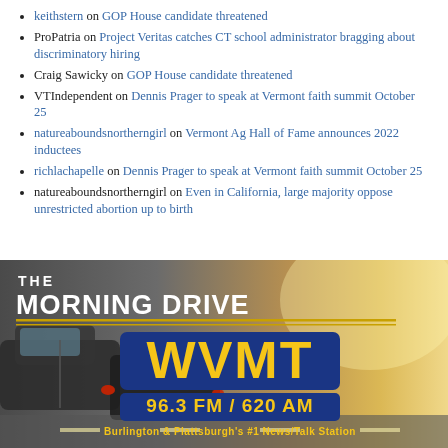keithstern on GOP House candidate threatened
ProPatria on Project Veritas catches CT school administrator bragging about discriminatory hiring
Craig Sawicky on GOP House candidate threatened
VTIndependent on Dennis Prager to speak at Vermont faith summit October 25
natureaboundsnortherngirl on Vermont Ag Hall of Fame announces 2022 inductees
richlachapelle on Dennis Prager to speak at Vermont faith summit October 25
natureaboundsnortherngirl on Even in California, large majority oppose unrestricted abortion up to birth
[Figure (logo): The Morning Drive WVMT 96.3 FM / 620 AM radio station banner with cars in background, Burlington & Plattsburgh's #1 News/Talk Station]